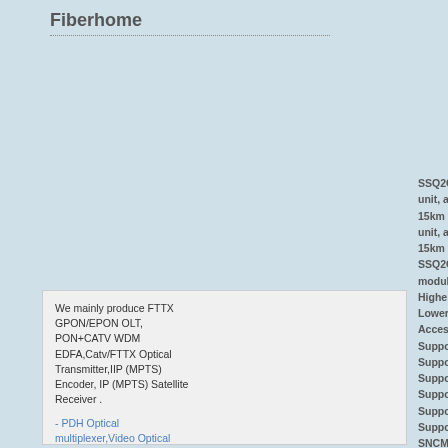Fiberhome
We mainly produce FTTX GPON/EPON OLT, PON+CATV WDM EDFA,Catv/FTTX Optical Transmitter,IIP (MPTS) Encoder, IP (MPTS) Satellite Receiver .

- PDH Optical multiplexer,Video Optical transmitter and receiver
SSQ2CXL4(S-4.1,LC) Huawei OSN1500 O unit, and STM-4 622M line unit integrated 15km SFP module.Huawei OSN1500 OSN unit, and STM-4 622M line unit integrated 15km SFP module
SSQ2CXL4 can configure STM-4 SFP mo module.
Higher order cross-connect capacity: 20
Lower order cross-connect capacity: 20 G
Access capacity: 18.75 Gbit/s.
Supports the detection and query of the i
Supports the ALS function.
Supports the transparent transmission a
Supports the setting and query of the J0,
Supports various alarms and performanc
Supports the two-fiber ring MSP, four-fib SNCMP protechtion schemes.
Supports 1+1 hot backup protection sche
Supports inloops and outloops at optical
Supports the warm reset and cold reset.
Supports the query of the manufacturing
Supports the in-service loading of the FP
Supports the upgrade of the board softw
Processes 40 channels of DCC signals.
Supports the in-service check function fo
Supports the failure check function for